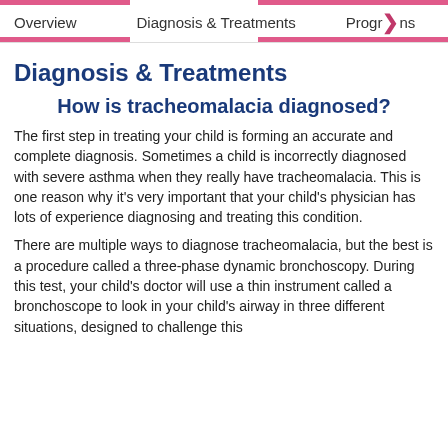Overview    Diagnosis & Treatments    Progr>ns
Diagnosis & Treatments
How is tracheomalacia diagnosed?
The first step in treating your child is forming an accurate and complete diagnosis. Sometimes a child is incorrectly diagnosed with severe asthma when they really have tracheomalacia. This is one reason why it's very important that your child's physician has lots of experience diagnosing and treating this condition.
There are multiple ways to diagnose tracheomalacia, but the best is a procedure called a three-phase dynamic bronchoscopy. During this test, your child's doctor will use a thin instrument called a bronchoscope to look in your child's airway in three different situations, designed to challenge this...